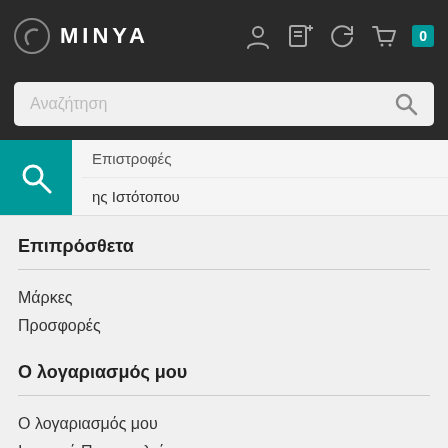MINYA
[Figure (screenshot): Search bar with placeholder text Αναζήτηση and search icon]
Επιστροφές
ης Ιστότοπου
Επιπρόσθετα
Μάρκες
Προσφορές
Ο λογαριασμός μου
Ο λογαριασμός μου
Ιστορικό Παραγγελιών
Λίστα Επιθυμιών